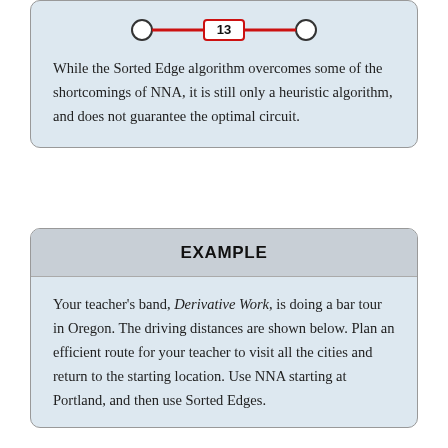[Figure (network-graph): A graph edge shown as a red horizontal line connecting two white circle nodes, with the number 13 in a white box in the middle of the edge.]
While the Sorted Edge algorithm overcomes some of the shortcomings of NNA, it is still only a heuristic algorithm, and does not guarantee the optimal circuit.
EXAMPLE
Your teacher’s band, Derivative Work, is doing a bar tour in Oregon. The driving distances are shown below. Plan an efficient route for your teacher to visit all the cities and return to the starting location. Use NNA starting at Portland, and then use Sorted Edges.